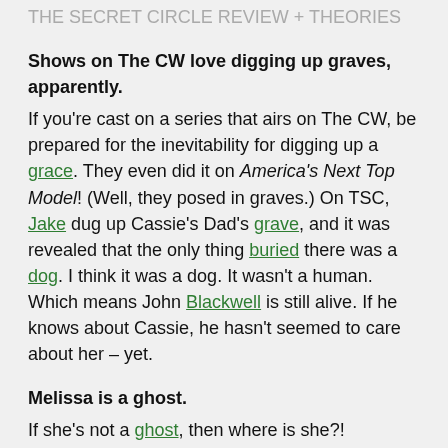Shows on The CW love digging up graves, apparently.
If you're cast on a series that airs on The CW, be prepared for the inevitability for digging up a grace. They even did it on America's Next Top Model! (Well, they posed in graves.) On TSC, Jake dug up Cassie's Dad's grave, and it was revealed that the only thing buried there was a dog. I think it was a dog. It wasn't a human. Which means John Blackwell is still alive. If he knows about Cassie, he hasn't seemed to care about her – yet.
Melissa is a ghost.
If she's not a ghost, then where is she?! Seriously. Speaking of being cast on a CW series, what is going on with Melissa? We hardly ever see this character. But they can never write her off, she's part of the circle. So, use her,